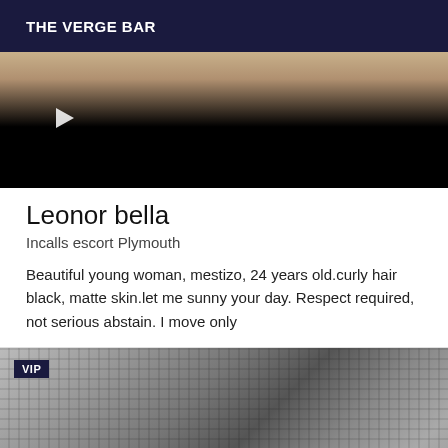THE VERGE BAR
[Figure (photo): Blurred photo with dark lower half and navigation arrow]
Leonor bella
Incalls escort Plymouth
Beautiful young woman, mestizo, 24 years old.curly hair black, matte skin.let me sunny your day. Respect required, not serious abstain. I move only
[Figure (photo): Black and white photo of a woman holding a fishnet fabric over her face, with VIP badge overlay]